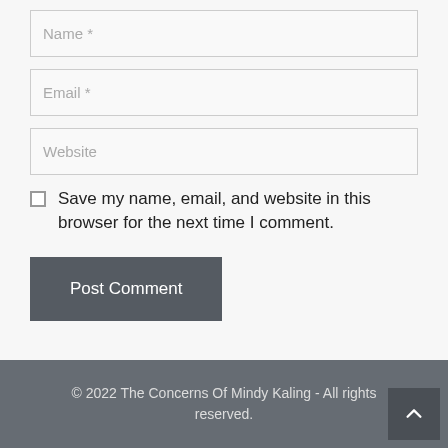Name *
Email *
Website
Save my name, email, and website in this browser for the next time I comment.
Post Comment
© 2022 The Concerns Of Mindy Kaling - All rights reserved.